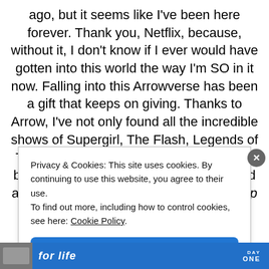ago, but it seems like I've been here forever. Thank you, Netflix, because, without it, I don't know if I ever would have gotten into this world the way I'm SO in it now. Falling into this Arrowverse has been a gift that keeps on giving. Thanks to Arrow, I've not only found all the incredible shows of Supergirl, The Flash, Legends of Tomorrow, and most recently, Batwoman but also an incredible group of actors and actresses that I've come to adore. (On top of that I've paid more attention to
Privacy & Cookies: This site uses cookies. By continuing to use this website, you agree to their use.
To find out more, including how to control cookies, see here: Cookie Policy
Close and accept
for life   DAY ONE